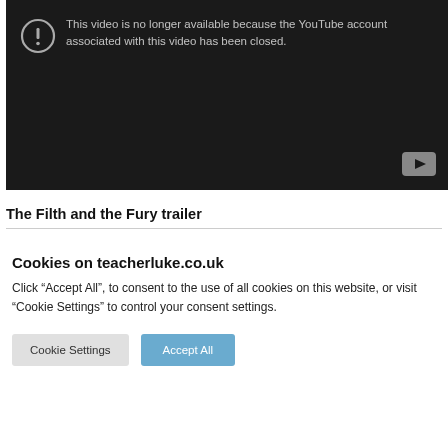[Figure (screenshot): YouTube video unavailable embed showing error: 'This video is no longer available because the YouTube account associated with this video has been closed.' with YouTube logo in bottom right corner.]
The Filth and the Fury trailer
Cookies on teacherluke.co.uk
Click “Accept All”, to consent to the use of all cookies on this website, or visit “Cookie Settings” to control your consent settings.